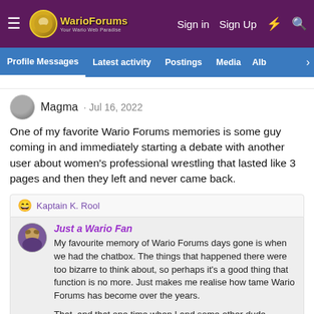WarioForums — Sign in  Sign Up
Profile Messages  Latest activity  Postings  Media  Alb
Magma · Jul 16, 2022
One of my favorite Wario Forums memories is some guy coming in and immediately starting a debate with another user about women's professional wrestling that lasted like 3 pages and then they left and never came back.
😄 Kaptain K. Rool
Just a Wario Fan
My favourite memory of Wario Forums days gone is when we had the chatbox. The things that happened there were too bizarre to think about, so perhaps it's a good thing that function is no more. Just makes me realise how tame Wario Forums has become over the years.

That, and that one time when I and some other dude managed to somehow start a Shantae fad that completely overtook the Forums for no reason at all, lol.